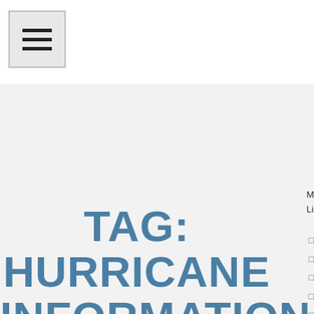[Figure (other): Hamburger menu button icon with three horizontal lines]
TAG: HURRICANE INFORMATION
October 7, 2021
Articles
Economy
Entertainment
Politics